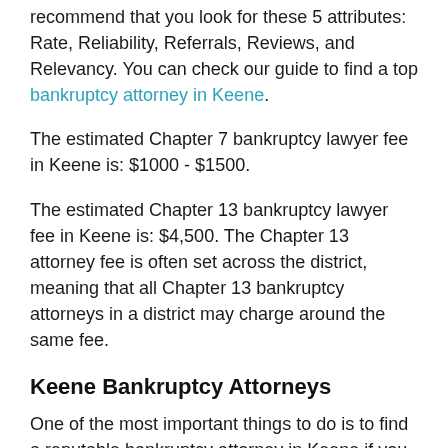recommend that you look for these 5 attributes: Rate, Reliability, Referrals, Reviews, and Relevancy. You can check our guide to find a top bankruptcy attorney in Keene.
The estimated Chapter 7 bankruptcy lawyer fee in Keene is: $1000 - $1500.
The estimated Chapter 13 bankruptcy lawyer fee in Keene is: $4,500. The Chapter 13 attorney fee is often set across the district, meaning that all Chapter 13 bankruptcy attorneys in a district may charge around the same fee.
Keene Bankruptcy Attorneys
One of the most important things to do is to find a reputable bankruptcy attorney in Keene if you decide to hire one. This is legal advice related to finances that are going to affect your future. For